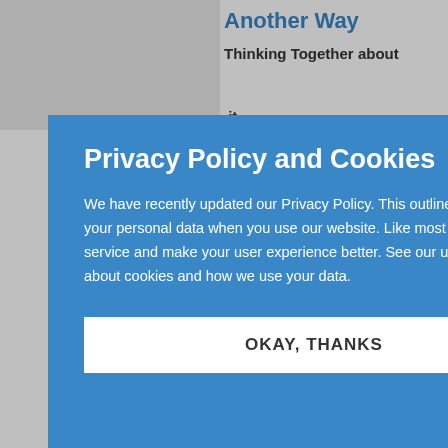Another Way
Thinking Together about the Holy Spirit
Garber
00 /
2640544
2019
rback
ick
eologians,
s, and
ople think
oly Spirit
y-first
is volume
offers one model: the
pneumatology of
Privacy Policy and Cookies
We have recently updated our Privacy Policy. This outlines how and why we collect, store and use your personal data when you use our website. Like most websites, we use cookies to improve our service and make your user experience better. See our updated Privacy Policy to find out more about cookies and how we use your data.
OKAY, THANKS